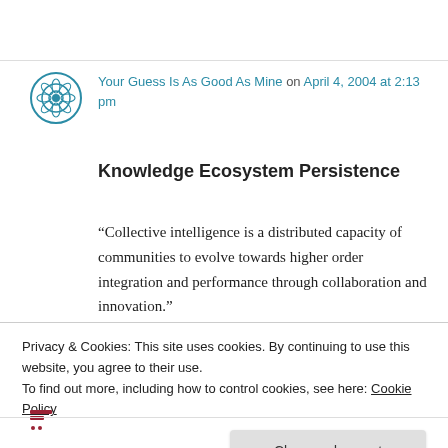Your Guess Is As Good As Mine on April 4, 2004 at 2:13 pm
Knowledge Ecosystem Persistence
“Collective intelligence is a distributed capacity of communities to evolve towards higher order integration and performance through collaboration and innovation.”
★ Like
Privacy & Cookies: This site uses cookies. By continuing to use this website, you agree to their use.
To find out more, including how to control cookies, see here: Cookie Policy
Close and accept